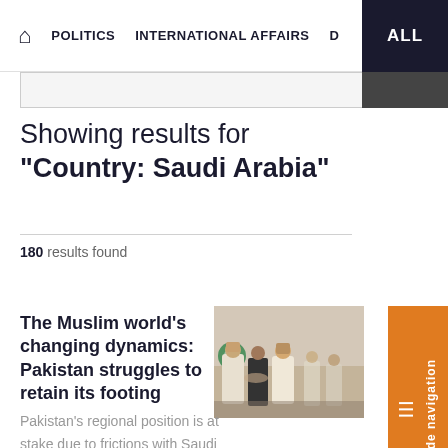🏠 POLITICS   INTERNATIONAL AFFAIRS   D   ALL
Showing results for "Country: Saudi Arabia"
180 results found
The Muslim world's changing dynamics: Pakistan struggles to retain its footing
[Figure (photo): Photo of men in traditional Arab and Western dress shaking hands, with a Pakistani flag visible in the background]
Pakistan's regional position is at stake due to frictions with Saudi Arabia and the recent Saudi-Turkish rapprochement.